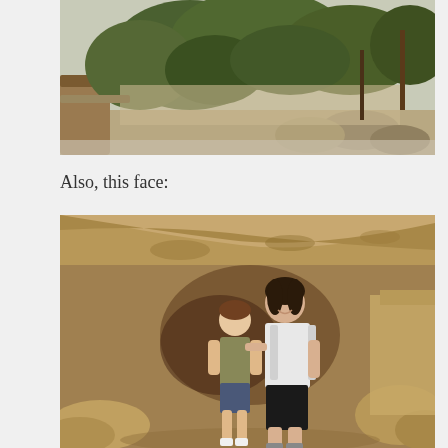[Figure (photo): Outdoor photo showing rocky terrain with trees and green foliage, appears to be a canyon or mountainous area with a stone path or wall visible on the left side.]
Also, this face:
[Figure (photo): Photo of two people (a child and an adult woman) standing together under a large rock overhang or cave entrance. The woman has a backpack and is smiling, with her arm around the child.]